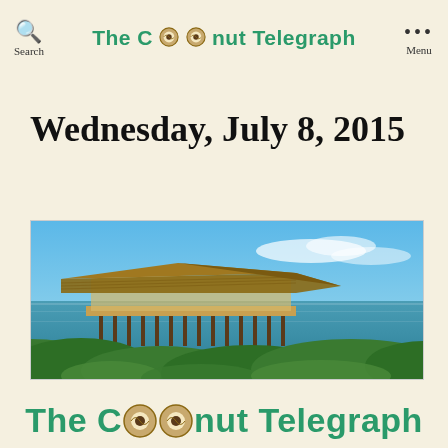The Coconut Telegraph — Search | Menu
Wednesday, July 8, 2015
[Figure (photo): Panoramic photo of a thatched-roof palapa structure on stilts over calm tropical water, with blue sky and lush green vegetation in the foreground]
The Coconut Telegraph